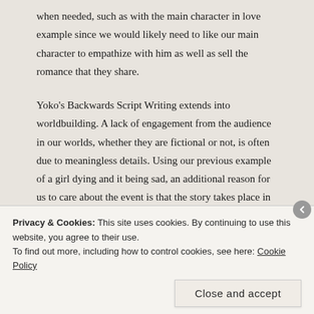when needed, such as with the main character in love example since we would likely need to like our main character to empathize with him as well as sell the romance that they share.
Yoko's Backwards Script Writing extends into worldbuilding. A lack of engagement from the audience in our worlds, whether they are fictional or not, is often due to meaningless details. Using our previous example of a girl dying and it being sad, an additional reason for us to care about the event is that the story takes place in a post-apocalyptic world in which the earth is dying and all people have long since discarded values of love and cooperation. The girl becomes a beacon of hope, treasured, giving us a reason to care. When we care about the characters, we tend to care about the world in which they exist. The Snowflake Method ensures that the writing development
Privacy & Cookies: This site uses cookies. By continuing to use this website, you agree to their use.
To find out more, including how to control cookies, see here: Cookie Policy
Close and accept